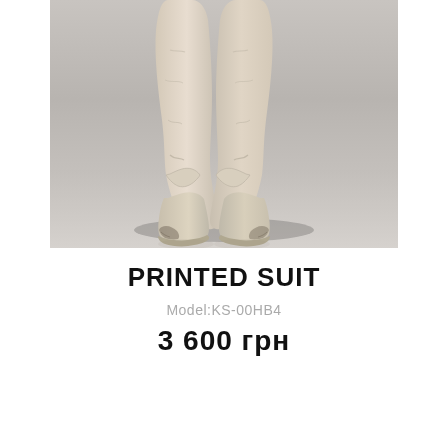[Figure (photo): Fashion photo showing lower half of a person wearing pale beige/cream wide-leg trousers gathered at the ankles, and chunky cream/off-white leather boots with dark scuff marks on the toe area. Background is a neutral gray gradient.]
PRINTED SUIT
Model:KS-00HB4
3 600 грн